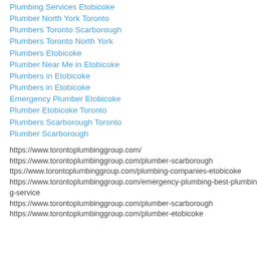Plumbing Services Etobicoke
Plumber North York Toronto
Plumbers Toronto Scarborough
Plumbers Toronto North York
Plumbers Etobicoke
Plumber Near Me in Etobicoke
Plumbers in Etobicoke
Plumbers in Etobicoke
Emergency Plumber Etobicoke
Plumber Etobicoke Toronto
Plumbers Scarborough Toronto
Plumber Scarborough
https://www.torontoplumbinggroup.com/
https://www.torontoplumbinggroup.com/plumber-scarborough
ttps://www.torontoplumbinggroup.com/plumbing-companies-etobicoke
https://www.torontoplumbinggroup.com/emergency-plumbing-best-plumbing-service
https://www.torontoplumbinggroup.com/plumber-scarborough
https://www.torontoplumbinggroup.com/plumber-etobicoke